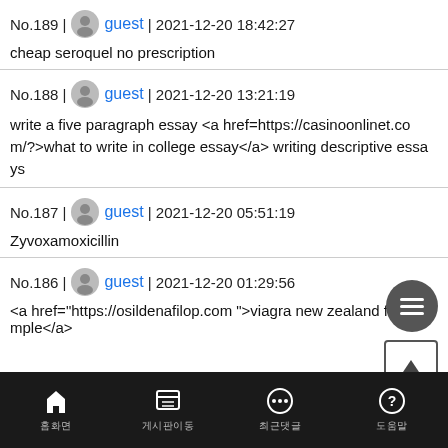No.189 | guest | 2021-12-20 18:42:27
cheap seroquel no prescription
No.188 | guest | 2021-12-20 13:21:19
write a five paragraph essay <a href=https://casinoonlinet.com/?>what to write in college essay</a> writing descriptive essays
No.187 | guest | 2021-12-20 05:51:19
Zyvoxamoxicillin
No.186 | guest | 2021-12-20 01:29:56
<a href="https://osildenafilop.com ">viagra new zealand free sample</a>
홈화면 | 게시판이동 | 최근댓글 | 도움말